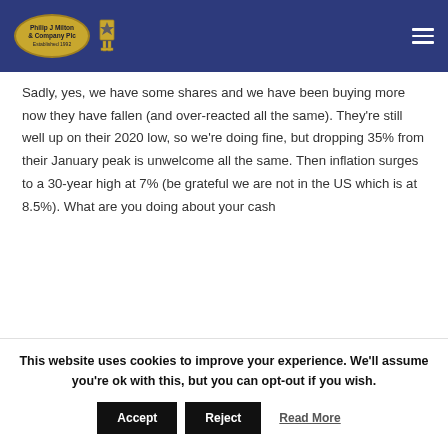Philip J Milton & Company Plc
Sadly, yes, we have some shares and we have been buying more now they have fallen (and over-reacted all the same). They're still well up on their 2020 low, so we're doing fine, but dropping 35% from their January peak is unwelcome all the same. Then inflation surges to a 30-year high at 7% (be grateful we are not in the US which is at 8.5%). What are you doing about your cash
This website uses cookies to improve your experience. We'll assume you're ok with this, but you can opt-out if you wish.